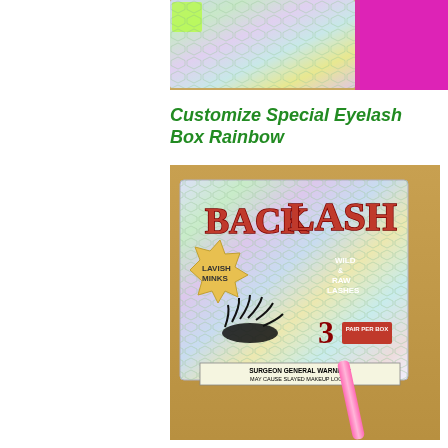[Figure (photo): Top portion of eyelash box with honeycomb holographic pattern and pink glitter, partially cropped]
Customize Special Eyelash Box Rainbow
[Figure (photo): Holographic honeycomb eyelash box branded 'BACKLASH' with text 'LAVISH MINKS', 'WILD & RAW LASHES', '3 PAIR PER BOX', and 'SURGEON GENERAL WARNING: MAY CAUSE SLAYED MAKEUP LOOKS', with a pink stick/wand, on tan background]